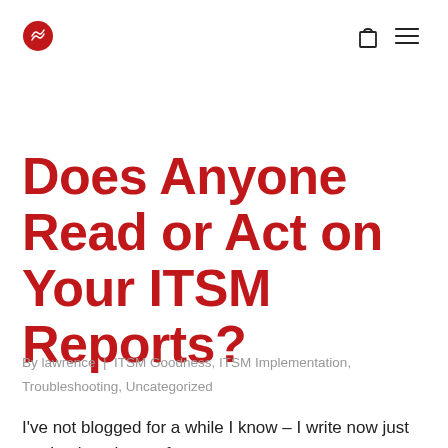[logo] [cart icon] [menu icon]
Does Anyone Read or Act on Your ITSM Reports?
By lawrence | ITSM Goodness, ITSM Implementation, Troubleshooting, Uncategorized
I've not blogged for a while I know – I write now just getting into the conference season